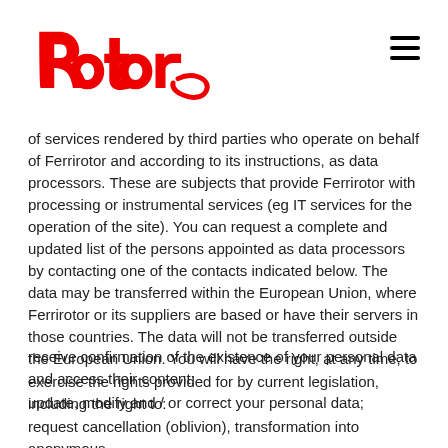Rotor
of services rendered by third parties who operate on behalf of Ferrirotor and according to its instructions, as data processors. These are subjects that provide Ferrirotor with processing or instrumental services (eg IT services for the operation of the site). You can request a complete and updated list of the persons appointed as data processors by contacting one of the contacts indicated below. The data may be transferred within the European Union, where Ferrirotor or its suppliers are based or have their servers in those countries. The data will not be transferred outside the European Union. You will have the right, at any time, to exercise the rights provided for by current legislation, including the right to:
receive confirmation of the existence of your personal data and access their content;
update, modify and / or correct your personal data;
request cancellation (oblivion), transformation into anonymous